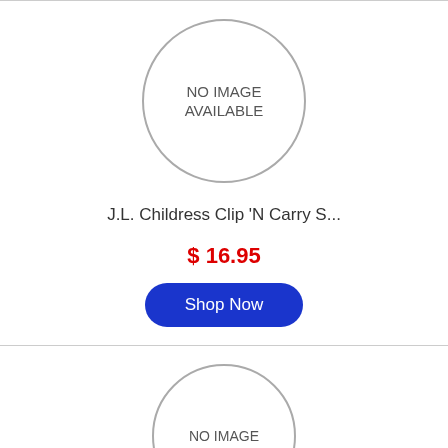[Figure (other): No image available placeholder circle for first product]
J.L. Childress Clip 'N Carry S...
$ 16.95
Shop Now
[Figure (other): No image available placeholder circle for second product (partially visible)]